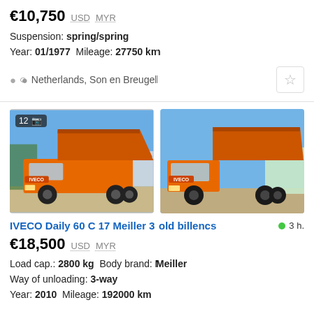€10,750  USD  MYR
Suspension: spring/spring
Year: 01/1977  Mileage: 27750 km
Netherlands, Son en Breugel
[Figure (photo): Two photos of an orange IVECO Daily tipper truck with raised dump body, photographed outdoors]
IVECO Daily 60 C 17 Meiller 3 old billencs   3 h.
€18,500  USD  MYR
Load cap.: 2800 kg  Body brand: Meiller
Way of unloading: 3-way
Year: 2010  Mileage: 192000 km